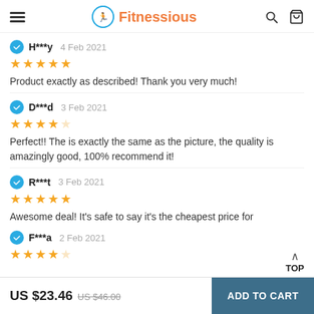Fitnessious
H***y  4 Feb 2021
★★★★★
Product exactly as described! Thank you very much!
D***d  3 Feb 2021
★★★★☆
Perfect!! The is exactly the same as the picture, the quality is amazingly good, 100% recommend it!
R***t  3 Feb 2021
★★★★★
Awesome deal! It's safe to say it's the cheapest price for
F***a  2 Feb 2021
★★★★
US $23.46  US $46.00  ADD TO CART